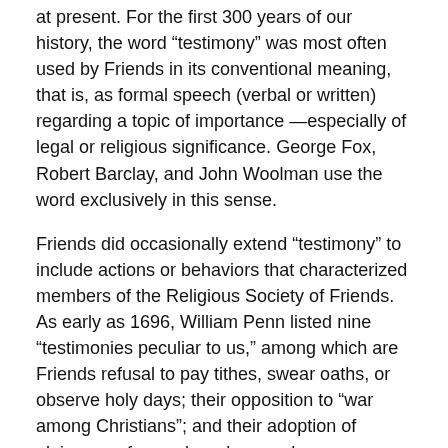at present. For the first 300 years of our history, the word “testimony” was most often used by Friends in its conventional meaning, that is, as formal speech (verbal or written) regarding a topic of importance —especially of legal or religious significance. George Fox, Robert Barclay, and John Woolman use the word exclusively in this sense.
Friends did occasionally extend “testimony” to include actions or behaviors that characterized members of the Religious Society of Friends. As early as 1696, William Penn listed nine “testimonies peculiar to us,” among which are Friends refusal to pay tithes, swear oaths, or observe holy days; their opposition to “war among Christians”; and their adoption of plainness of speech and apparel.
In subsequent Quaker writing, it is often unclear whether “testimony” refers to speech or to